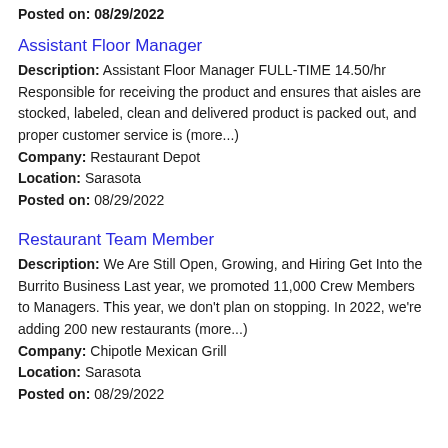Posted on: 08/29/2022
Assistant Floor Manager
Description: Assistant Floor Manager FULL-TIME 14.50/hr Responsible for receiving the product and ensures that aisles are stocked, labeled, clean and delivered product is packed out, and proper customer service is (more...) Company: Restaurant Depot Location: Sarasota Posted on: 08/29/2022
Restaurant Team Member
Description: We Are Still Open, Growing, and Hiring Get Into the Burrito Business Last year, we promoted 11,000 Crew Members to Managers. This year, we don't plan on stopping. In 2022, we're adding 200 new restaurants (more...) Company: Chipotle Mexican Grill Location: Sarasota Posted on: 08/29/2022